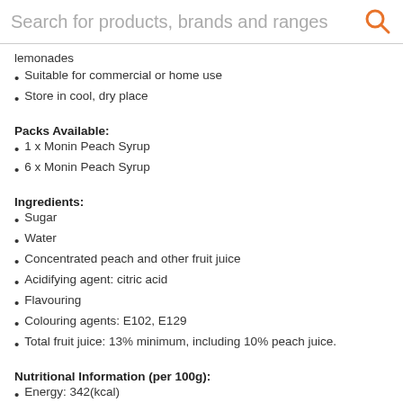Search for products, brands and ranges
lemonades
Suitable for commercial or home use
Store in cool, dry place
Packs Available:
1 x Monin Peach Syrup
6 x Monin Peach Syrup
Ingredients:
Sugar
Water
Concentrated peach and other fruit juice
Acidifying agent: citric acid
Flavouring
Colouring agents: E102, E129
Total fruit juice: 13% minimum, including 10% peach juice.
Nutritional Information (per 100g):
Energy: 342(kcal)
Total Carbohydrates: 84.2g
Of which sugars: 84.2g
Brand: Monin